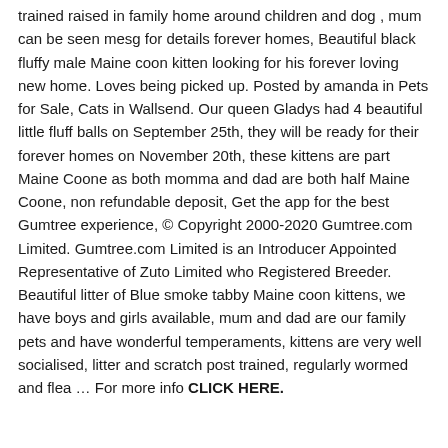trained raised in family home around children and dog , mum can be seen mesg for details forever homes, Beautiful black fluffy male Maine coon kitten looking for his forever loving new home. Loves being picked up. Posted by amanda in Pets for Sale, Cats in Wallsend. Our queen Gladys had 4 beautiful little fluff balls on September 25th, they will be ready for their forever homes on November 20th, these kittens are part Maine Coone as both momma and dad are both half Maine Coone, non refundable deposit, Get the app for the best Gumtree experience, © Copyright 2000-2020 Gumtree.com Limited. Gumtree.com Limited is an Introducer Appointed Representative of Zuto Limited who Registered Breeder. Beautiful litter of Blue smoke tabby Maine coon kittens, we have boys and girls available, mum and dad are our family pets and have wonderful temperaments, kittens are very well socialised, litter and scratch post trained, regularly wormed and flea … For more info CLICK HERE.